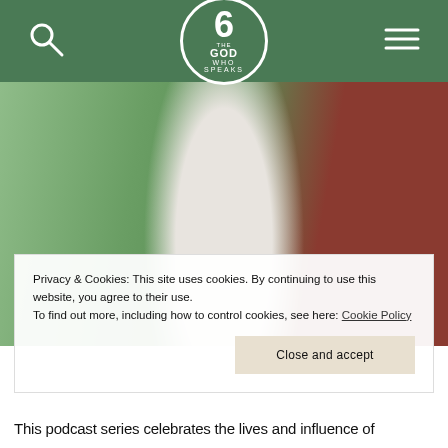The God Who Speaks (logo with navigation)
[Figure (photo): Close-up of a religious painting showing a figure in white linen shirt with green robe trimmed in gold and blue, red background at left.]
Privacy & Cookies: This site uses cookies. By continuing to use this website, you agree to their use.
To find out more, including how to control cookies, see here: Cookie Policy
Close and accept
This podcast series celebrates the lives and influence of